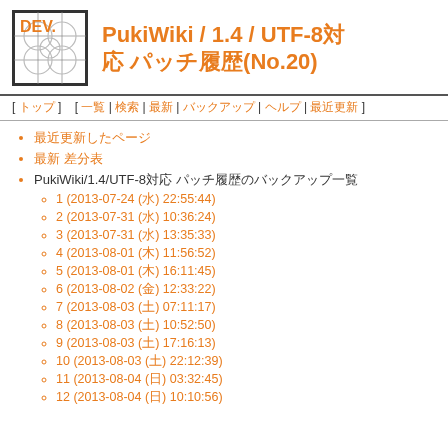[Figure (logo): DEV. logo with geometric circle pattern in orange and gray]
PukiWiki / 1.4 / UTF-8対応 パッチ履歴(No.20)
[ トップ ]  [ 一覧 | 検索 | 最新 | バックアップ | ヘルプ | 最近更新 ]
最近更新したページ
最新 差分表
PukiWiki/1.4/UTF-8対応 パッチ履歴のバックアップ一覧
1 (2013-07-24 (水) 22:55:44)
2 (2013-07-31 (水) 10:36:24)
3 (2013-07-31 (水) 13:35:33)
4 (2013-08-01 (木) 11:56:52)
5 (2013-08-01 (木) 16:11:45)
6 (2013-08-02 (金) 12:33:22)
7 (2013-08-03 (土) 07:11:17)
8 (2013-08-03 (土) 10:52:50)
9 (2013-08-03 (土) 17:16:13)
10 (2013-08-03 (土) 22:12:39)
11 (2013-08-04 (日) 03:32:45)
12 (2013-08-04 (日) 10:10:56)